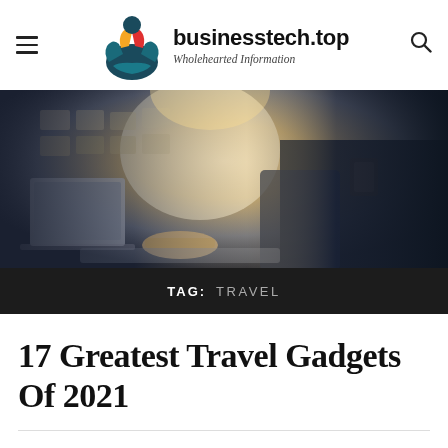businesstech.top — Wholehearted Information
[Figure (photo): Person in dark suit jacket typing on a laptop, with blurred warehouse/office shelves in background, bright backlighting]
TAG: TRAVEL
17 Greatest Travel Gadgets Of 2021